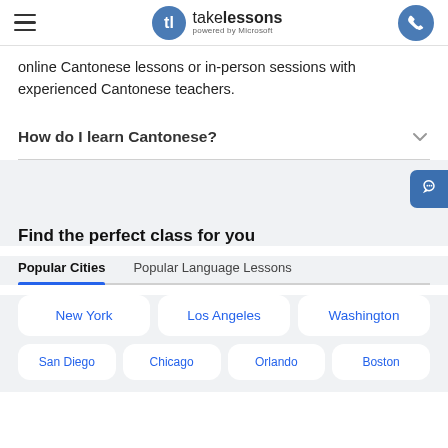takelessons powered by Microsoft
online Cantonese lessons or in-person sessions with experienced Cantonese teachers.
How do I learn Cantonese?
Find the perfect class for you
Popular Cities | Popular Language Lessons
New York
Los Angeles
Washington
San Diego
Chicago
Orlando
Boston